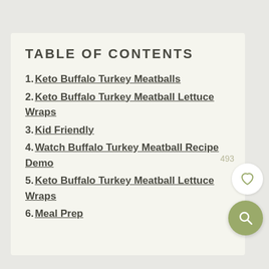TABLE OF CONTENTS
1. Keto Buffalo Turkey Meatballs
2. Keto Buffalo Turkey Meatball Lettuce Wraps
3. Kid Friendly
4. Watch Buffalo Turkey Meatball Recipe Demo
5. Keto Buffalo Turkey Meatball Lettuce Wraps
6. Meal Prep